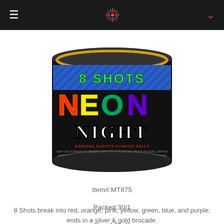[Figure (photo): Product photo of Neon Night firework item - a cylindrical canister with black label showing '8 SHOTS' in blue on top, 'NEON' in rainbow letters, 'NIGHT' in white, and 'WARNING SHOOTS FLAMING BALLS' warning text]
Item#:MT875
Packed:30/1
Size:4.5"x4"
8 Shots break into red, orange, pink, yellow, green, blue, and purple; ends in a silver & gold brocade.